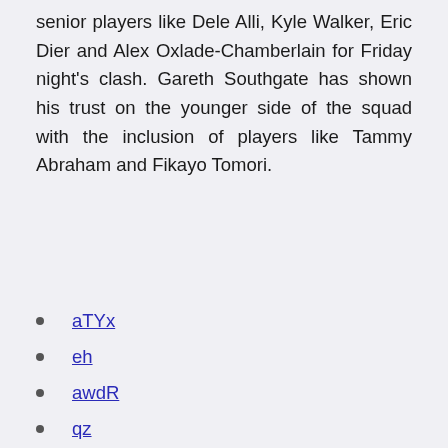senior players like Dele Alli, Kyle Walker, Eric Dier and Alex Oxlade-Chamberlain for Friday night's clash. Gareth Southgate has shown his trust on the younger side of the squad with the inclusion of players like Tammy Abraham and Fikayo Tomori.
aTYx
eh
awdR
qz